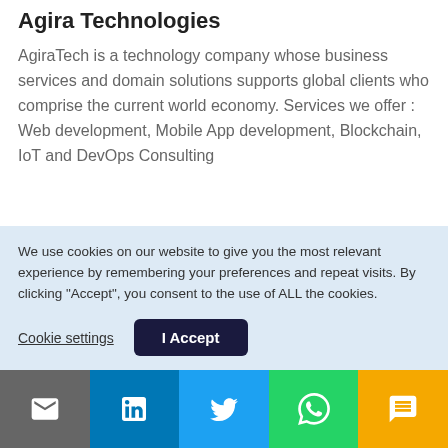Agira Technologies
AgiraTech is a technology company whose business services and domain solutions supports global clients who comprise the current world economy. Services we offer : Web development, Mobile App development, Blockchain, IoT and DevOps Consulting
[Figure (other): Side tab button with rotated text 'Say Hello!' on dark blue background]
We use cookies on our website to give you the most relevant experience by remembering your preferences and repeat visits. By clicking “Accept”, you consent to the use of ALL the cookies.
Cookie settings   I Accept
[Figure (other): Social media bar with email, LinkedIn, Twitter, WhatsApp, and SMS icons]